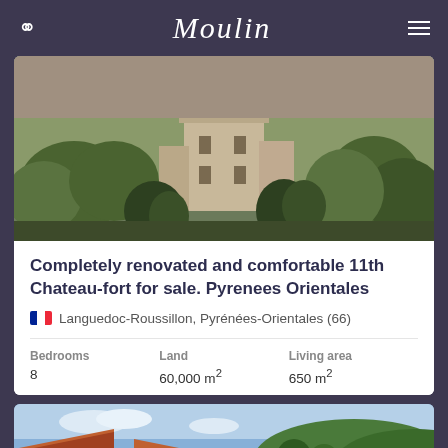Moulin
[Figure (photo): Aerial view of a renovated 11th century chateau-fort surrounded by trees and countryside]
Completely renovated and comfortable 11th Chateau-fort for sale. Pyrenees Orientales
Languedoc-Roussillon, Pyrénées-Orientales (66)
| Bedrooms | Land | Living area |
| --- | --- | --- |
| 8 | 60,000 m² | 650 m² |
[Figure (photo): Partial view of a villa with red tiled roof and green hills in the background]